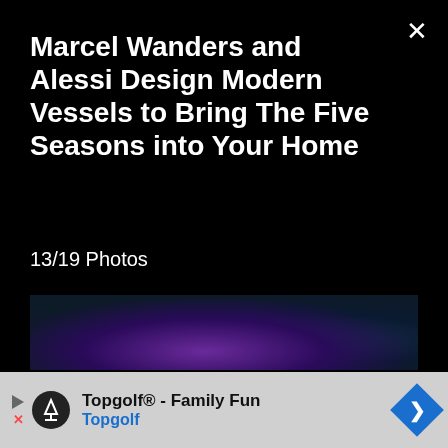Marcel Wanders and Alessi Design Modern Vessels to Bring The Five Seasons into Your Home
13/19 Photos
[Figure (photo): Dark blurred photo with purple/blue gradient tones, appears to be a vessel or object in low light]
Topgolf® - Family Fun Topgolf